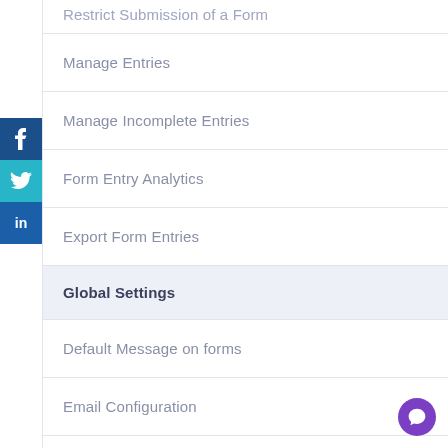Restrict Submission of a Form
Manage Entries
Manage Incomplete Entries
Form Entry Analytics
Export Form Entries
Global Settings
Default Message on forms
Email Configuration
Other General Options